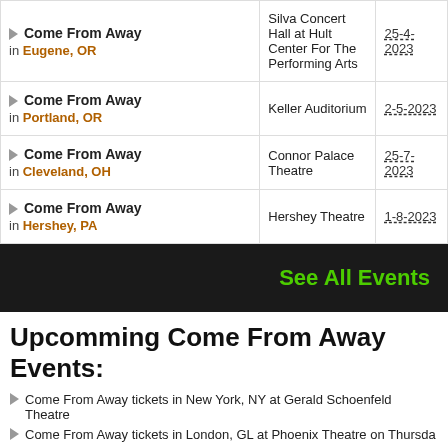| Event | Venue | Date |
| --- | --- | --- |
| Come From Away in Eugene, OR | Silva Concert Hall at Hult Center For The Performing Arts | 25-4-2023 |
| Come From Away in Portland, OR | Keller Auditorium | 2-5-2023 |
| Come From Away in Cleveland, OH | Connor Palace Theatre | 25-7-2023 |
| Come From Away in Hershey, PA | Hershey Theatre | 1-8-2023 |
See All Events
Upcomming Come From Away Events:
Come From Away tickets in New York, NY at Gerald Schoenfeld Theatre
Come From Away tickets in London, GL at Phoenix Theatre on Thursday
Come From Away tickets in Edmonton, AB at Northern Alberta Jubilee A
Come From Away tickets in New York, NY at Gerald Schoenfeld Theatre
Come From Away tickets in Edmonton, AB at Northern Alberta Jubilee